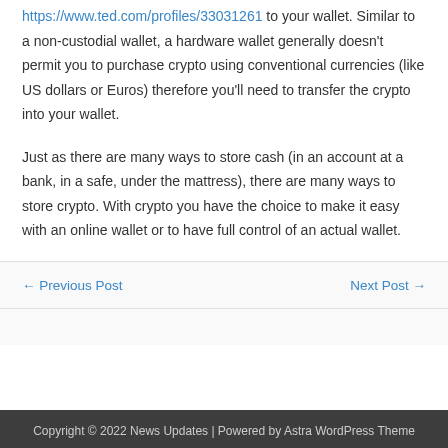https://www.ted.com/profiles/33031261 to your wallet. Similar to a non-custodial wallet, a hardware wallet generally doesn't permit you to purchase crypto using conventional currencies (like US dollars or Euros) therefore you'll need to transfer the crypto into your wallet.
Just as there are many ways to store cash (in an account at a bank, in a safe, under the mattress), there are many ways to store crypto. With crypto you have the choice to make it easy with an online wallet or to have full control of an actual wallet.
← Previous Post
Next Post →
Copyright © 2022 News Updates | Powered by Astra WordPress Theme